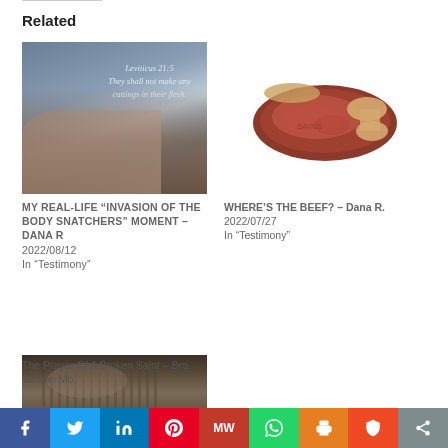Related
[Figure (photo): Person writing or marking skin, with overlaid text: Leviticus 21:5 They shall not make any cuttings in their flesh.]
MY REAL-LIFE “INVASION OF THE BODY SNATCHERS” MOMENT – Dana R
2022/08/12
In “Testimony”
[Figure (photo): A cooked steak/beef cut on white background]
WHERE’S THE BEEF? – Dana R.
2022/07/27
In “Testimony”
[Figure (photo): Elderly person with hands clasped together resting on lap, wearing plaid clothing]
The Prayer Of A Broken Saint – Bro. John in Mo.